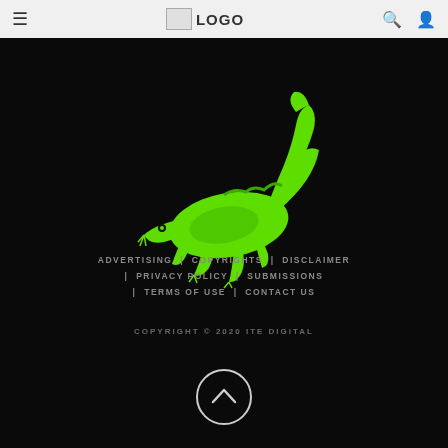≡  LOGO  🔍 👤
[Figure (logo): Green crocodile/alligator illustration logo on black background]
ADVERTISING | COPYRIGHTS | DISCLAIMER | PRIVACY POLICY | SUBMISSIONS | TERMS OF USE | CONTACT US
COPYRIGHT © 2020 ITE DIGITAL
[Figure (other): Back to top button — circle with upward chevron arrow, white outline on black background]